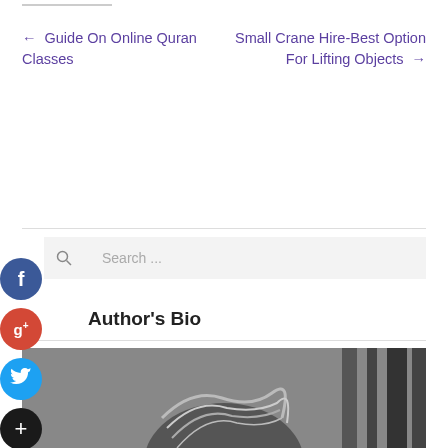← Guide On Online Quran Classes
Small Crane Hire-Best Option For Lifting Objects →
[Figure (screenshot): Search bar with magnifying glass icon and placeholder text 'Search ...' on light gray background]
Author's Bio
[Figure (photo): Black and white photo showing the top of a person's head with light-colored hair]